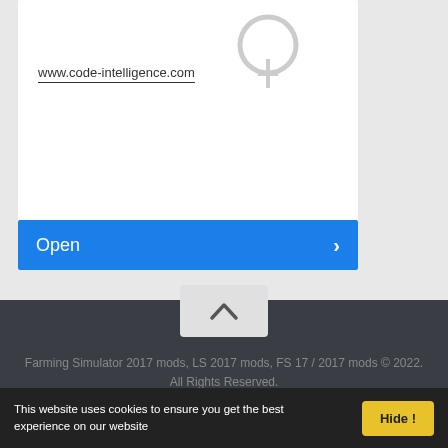[Figure (screenshot): White card panel showing a wireless/NFC icon at upper right and a URL text field with underline]
www.code-intelligence.com
[Figure (screenshot): Blue 'Open' button with a right chevron arrow]
[Figure (screenshot): Light gray scroll-to-top button with an upward chevron]
Farming Simulator 2017 mods, LS 2017 mods, FS 17 / 2017 mods © 2022. All Rights Reserved.
[Figure (screenshot): Facebook and Google+ social media icons in gray]
This website uses cookies to ensure you get the best experience on our website